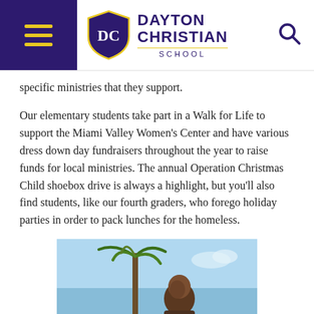Dayton Christian School
specific ministries that they support.
Our elementary students take part in a Walk for Life to support the Miami Valley Women’s Center and have various dress down day fundraisers throughout the year to raise funds for local ministries. The annual Operation Christmas Child shoebox drive is always a highlight, but you’ll also find students, like our fourth graders, who forego holiday parties in order to pack lunches for the homeless.
[Figure (photo): A child outdoors with a palm tree and blue sky in the background]